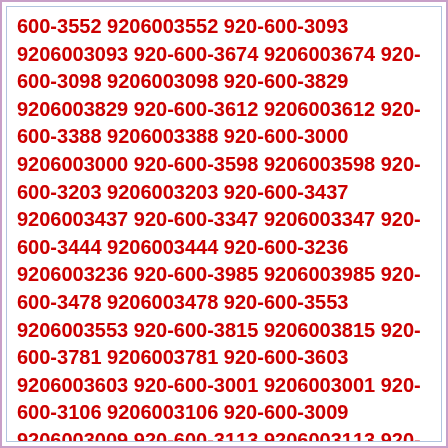600-3552 9206003552 920-600-3093 9206003093 920-600-3674 9206003674 920-600-3098 9206003098 920-600-3829 9206003829 920-600-3612 9206003612 920-600-3388 9206003388 920-600-3000 9206003000 920-600-3598 9206003598 920-600-3203 9206003203 920-600-3437 9206003437 920-600-3347 9206003347 920-600-3444 9206003444 920-600-3236 9206003236 920-600-3985 9206003985 920-600-3478 9206003478 920-600-3553 9206003553 920-600-3815 9206003815 920-600-3781 9206003781 920-600-3603 9206003603 920-600-3001 9206003001 920-600-3106 9206003106 920-600-3009 9206003009 920-600-3113 9206003113 920-600-3440 9206003440 920-600-3826 9206003826 920-600-3054 9206003054 920-600-3939 9206003939 920-600-3462 9206003462 920-600-3448 9206003448 920-600-3125 9206003125 920-600-3607 9206003607 920-600-3038 9206003038 920-600-3349 9206003349 920-600-3848